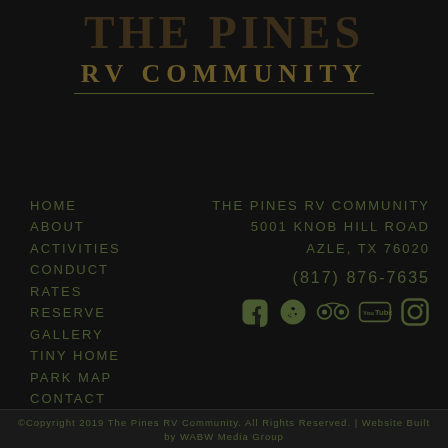THE PINES
RV COMMUNITY
HOME
ABOUT
ACTIVITIES
CONDUCT
RATES
RESERVE
GALLERY
TINY HOME
PARK MAP
CONTACT
THE PINES RV COMMUNITY
5001 KNOB HILL ROAD
AZLE, TX 76020

(817) 876-7635
[Figure (logo): Social media icons: Facebook, Yelp, TripAdvisor, YouTube, Instagram]
©Copyright 2019 The Pines RV Community. All Rights Reserved. | Website Built by WABW Media Group